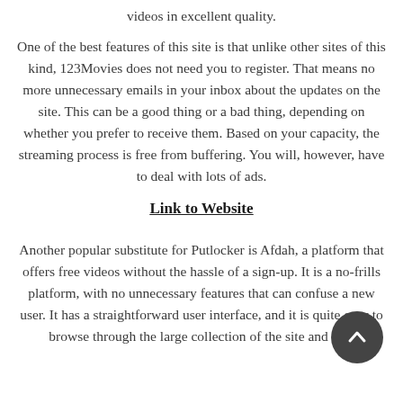videos in excellent quality.
One of the best features of this site is that unlike other sites of this kind, 123Movies does not need you to register. That means no more unnecessary emails in your inbox about the updates on the site. This can be a good thing or a bad thing, depending on whether you prefer to receive them. Based on your capacity, the streaming process is free from buffering. You will, however, have to deal with lots of ads.
Link to Website
Another popular substitute for Putlocker is Afdah, a platform that offers free videos without the hassle of a sign-up. It is a no-frills platform, with no unnecessary features that can confuse a new user. It has a straightforward user interface, and it is quite easy to browse through the large collection of the site and find